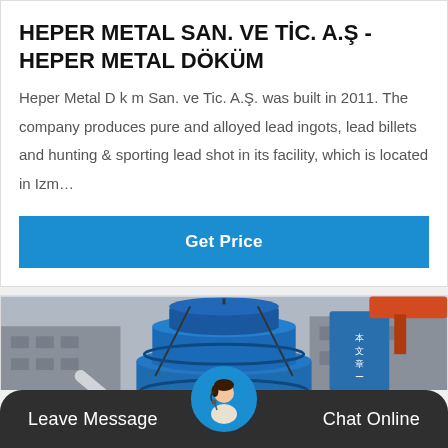HEPER METAL SAN. VE TİC. A.Ş - HEPER METAL DÖKÜM
Heper Metal D k m San. ve Tic. A.Ş. was built in 2011. The company produces pure and alloyed lead ingots, lead billets and hunting & sporting lead shot in its facility, which is located in Izm…
[Figure (other): Blue 'Get Price' button]
[Figure (photo): Industrial heavy machinery (cone crusher or similar blue industrial machine) in a factory/industrial setting with orange crane arm visible in background]
Leave Message
Chat Online